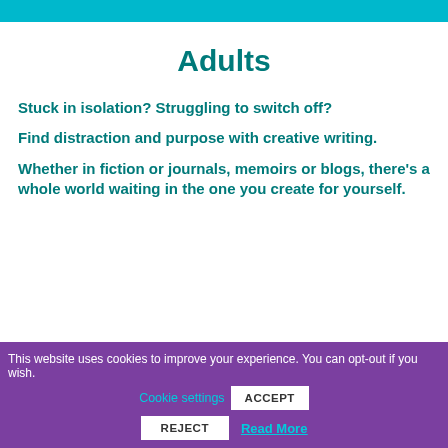Adults
Stuck in isolation? Struggling to switch off?
Find distraction and purpose with creative writing.
Whether in fiction or journals, memoirs or blogs, there's a whole world waiting in the one you create for yourself.
This website uses cookies to improve your experience. You can opt-out if you wish.  Cookie settings  ACCEPT  REJECT  Read More